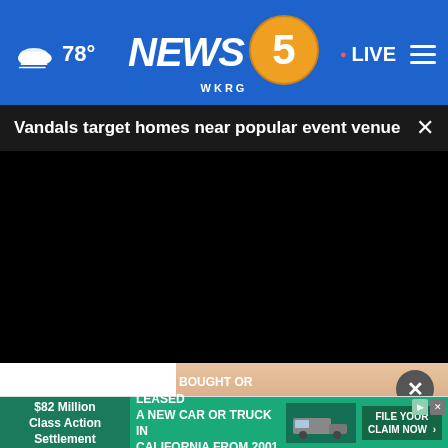78° NEWS 5 WKRG • LIVE
Vandals target homes near popular event venue
[Figure (screenshot): Black video player area embedded in news website]
[Figure (photo): Partial image visible below video, showing skin tones]
[Figure (infographic): Advertisement: '$82 Million Class Action Settlement - IF YOU BOUGHT OR LEASED A NEW CAR OR TRUCK IN CALIFORNIA FROM 2001 - 2003 - FILE YOUR CLAIM NOW']